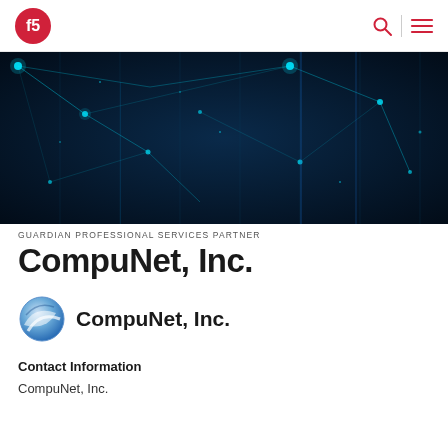F5 logo, search icon, menu icon
[Figure (photo): Dark blue technology background with glowing teal network nodes and connecting lines, digital data visualization]
GUARDIAN PROFESSIONAL SERVICES PARTNER
CompuNet, Inc.
[Figure (logo): CompuNet, Inc. logo — blue circular swoosh/globe icon with CompuNet, Inc. text]
Contact Information
CompuNet, Inc.